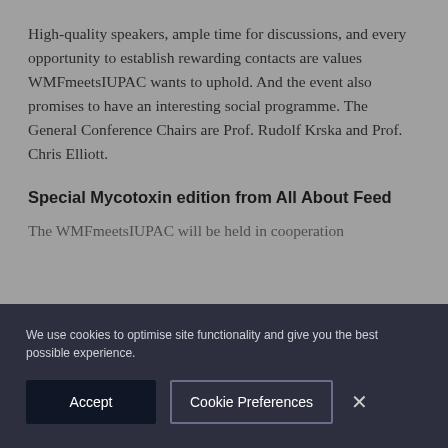High-quality speakers, ample time for discussions, and every opportunity to establish rewarding contacts are values WMFmeetsIUPAC wants to uphold. And the event also promises to have an interesting social programme. The General Conference Chairs are Prof. Rudolf Krska and Prof. Chris Elliott.
Special Mycotoxin edition from All About Feed
The WMFmeetsIUPAC will be held in cooperation
We use cookies to optimise site functionality and give you the best possible experience.